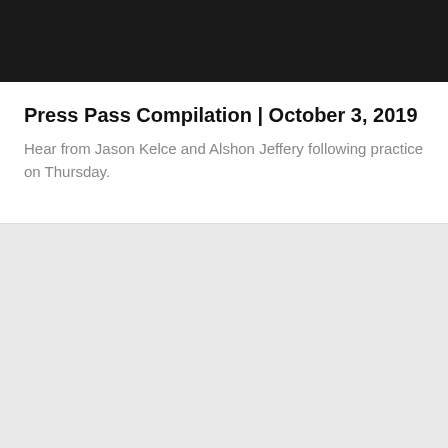[Figure (photo): Black header bar at top of page]
Press Pass Compilation | October 3, 2019
Hear from Jason Kelce and Alshon Jeffery following practice on Thursday.